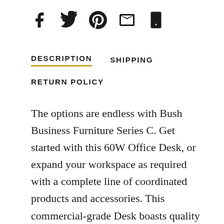[Figure (other): Social sharing icons: Facebook, Twitter, Pinterest, Email, Mobile]
DESCRIPTION    SHIPPING
RETURN POLICY
The options are endless with Bush Business Furniture Series C. Get started with this 60W Office Desk, or expand your workspace as required with a complete line of coordinated products and accessories. This commercial-grade Desk boasts quality craftsmanship, a sturdy construction, thermally fused laminate finish and rugged edge banding for years of reliability.